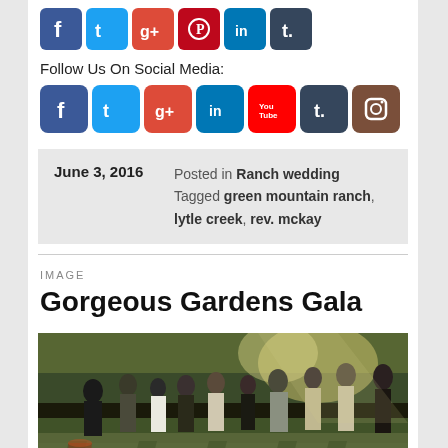[Figure (infographic): Social media icons row (partial top): Facebook, Twitter, Google+, Pinterest, LinkedIn, Tumblr]
Follow Us On Social Media:
[Figure (infographic): Social media icons row: Facebook, Twitter, Google+, LinkedIn, YouTube, Tumblr, Instagram]
June 3, 2016   Posted in Ranch wedding   Tagged green mountain ranch, lytle creek, rev. mckay
IMAGE
Gorgeous Gardens Gala
[Figure (photo): Outdoor garden gala event photo showing people socializing in dappled sunlight on a gravel path, with a wine glass in the foreground lower left]